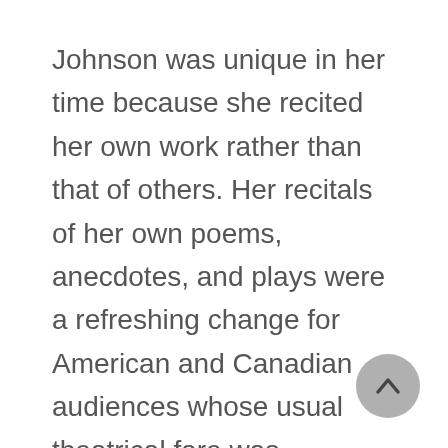Johnson was unique in her time because she recited her own work rather than that of others. Her recitals of her own poems, anecdotes, and plays were a refreshing change for American and Canadian audiences whose usual theatrical fare was Shakespeare or Ibsen. Johnson was never able to make much money from her writing, and most of her income came from her speaking tours.